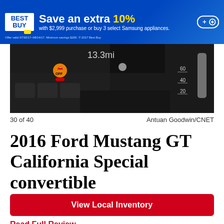[Figure (other): Best Buy advertisement banner: Save an extra 10% with $2,999 purchase or buy 3 select Samsung appliances.]
[Figure (photo): Close-up photo of a car dashboard showing an orange warning light labeled 'OFF' and a gauge panel with numbers 60, 40, 20 visible, overlaid with text '13.3mi'.]
30 of 40    Antuan Goodwin/CNET
2016 Ford Mustang GT California Special convertible
View Local Inventory
Read Full Review